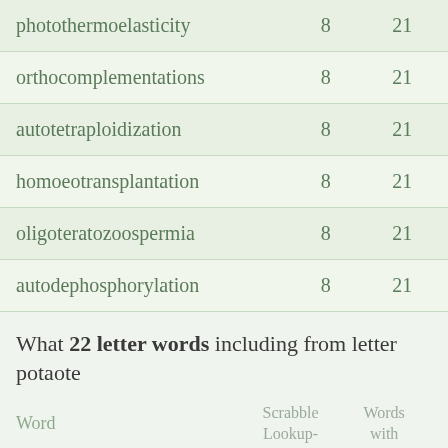| Word | Scrabble Lookup- | Words with friends |
| --- | --- | --- |
| photothermoelasticity | 8 | 21 |
| orthocomplementations | 8 | 21 |
| autotetraploidization | 8 | 21 |
| homoeotransplantation | 8 | 21 |
| oligoteratozoospermia | 8 | 21 |
| autodephosphorylation | 8 | 21 |
What 22 letter words including from letter potaote
| Word | Scrabble Lookup- | Words with friends |
| --- | --- | --- |